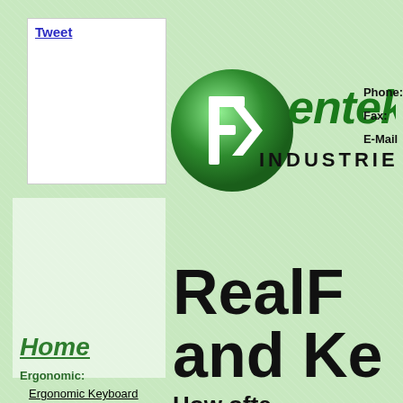Tweet
[Figure (logo): Fentek Industries logo with green globe/F icon and bold italic text reading 'Fentek INDUSTRIES']
Phone:
Fax:
E-Mail
Home
Ergonomic:
Ergonomic Keyboard
RealF
and Ke
How ofte
Do you u